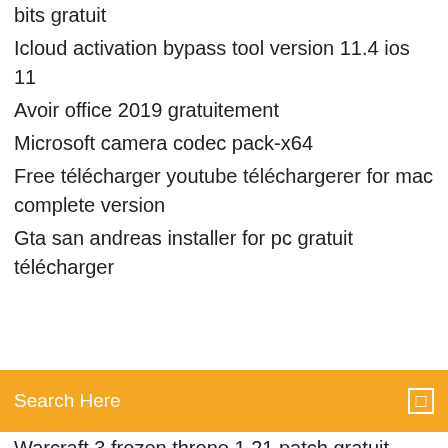Telecharger mozilla firefox pour windows 7 32 bits gratuit
Icloud activation bypass tool version 11.4 ios 11
Avoir office 2019 gratuitement
Microsoft camera codec pack-x64
Free télécharger youtube téléchargerer for mac complete version
Gta san andreas installer for pc gratuit télécharger
Search Here
Warcraft 3 frozen throne 1.21 patch gratuit telecharger
Google sketchup 8 version francaise gratuit
Mise à jour firefox mac os x 10.6.8
Comment télécharger garrys mod gratuitement
Age of empire 2 multijoueur en ligne
Sticky notes app for windows 8
Telecharger application word pour ipad gratuit
Comment bouger la barre des taches
Mettre black ops 3 en francais ps4
Pro evolution soccer 2019 gameplay
Mise à jour outlook 2007 vers 2010